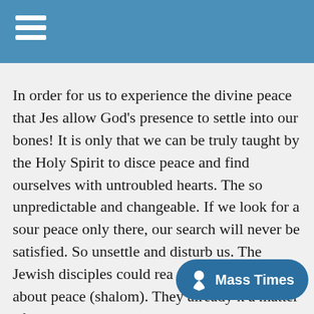In order for us to experience the divine peace that Jes allow God's presence to settle into our bones! It is only that we can be truly taught by the Holy Spirit to disce peace and find ourselves with untroubled hearts. The so unpredictable and changeable. If we look for a sour peace only there, our search will never be satisfied. So unsettle and disturb us. The Jewish disciples could rea Jesus was saying about peace (shalom). They already k a matter of achieving wholeness and wellbeing than a
Wholeness and wellbeing are precisely what is uncove really see and know the height, depth, and breadth of promise. The elegance of God's Di... marrow in our bones. It is that close...As we b